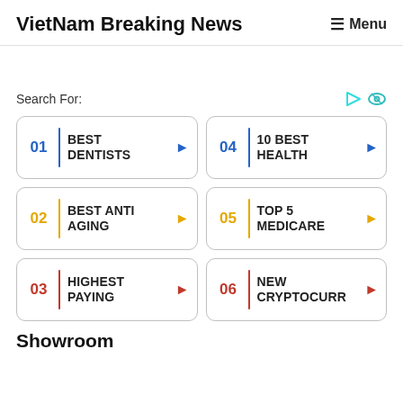VietNam Breaking News   ≡ Menu
Search For:
01 BEST DENTISTS
04 10 BEST HEALTH
02 BEST ANTI AGING
05 TOP 5 MEDICARE
03 HIGHEST PAYING
06 NEW CRYPTOCURR
Showroom